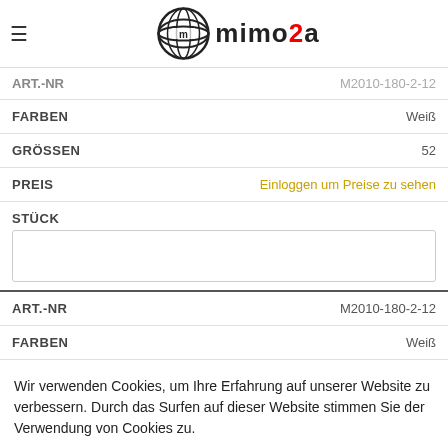mimo2a logo and navigation header
ART.-NR  M2010-180-2-12 (partial, top)
| Field | Value |
| --- | --- |
| FARBEN | Weiß |
| GRÖSSEN | 52 |
| PREIS | Einloggen um Preise zu sehen |
| STÜCK |  |
| ART.-NR | M2010-180-2-12 |
| FARBEN | Weiß |
Wir verwenden Cookies, um Ihre Erfahrung auf unserer Website zu verbessern. Durch das Surfen auf dieser Website stimmen Sie der Verwendung von Cookies zu.
Akzeptieren